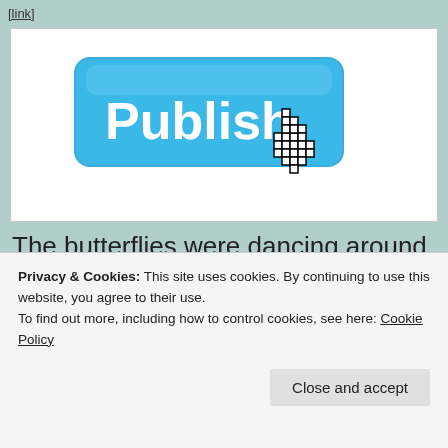[link]
[Figure (screenshot): A blue rounded-rectangle button labeled 'Publish' in large white text, with a pixel-art pointer/hand cursor clicking it, on a white background.]
The butterflies were dancing around in my
Privacy & Cookies: This site uses cookies. By continuing to use this website, you agree to their use.
To find out more, including how to control cookies, see here: Cookie Policy
Close and accept
journey it's been so far